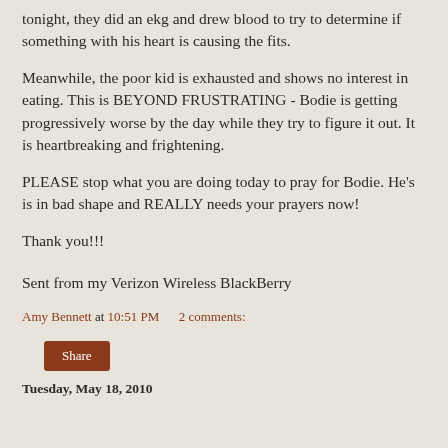tonight, they did an ekg and drew blood to try to determine if something with his heart is causing the fits.
Meanwhile, the poor kid is exhausted and shows no interest in eating. This is BEYOND FRUSTRATING - Bodie is getting progressively worse by the day while they try to figure it out. It is heartbreaking and frightening.
PLEASE stop what you are doing today to pray for Bodie. He's is in bad shape and REALLY needs your prayers now!
Thank you!!!
Sent from my Verizon Wireless BlackBerry
Amy Bennett at 10:51 PM    2 comments:
Share
Tuesday, May 18, 2010